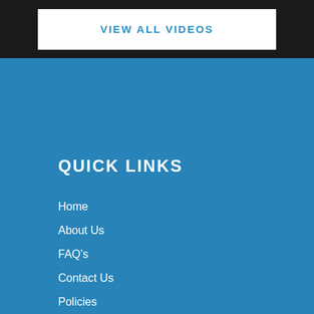VIEW ALL VIDEOS
QUICK LINKS
Home
About Us
FAQ's
Contact Us
Policies
Testimonies
Upcoming Events
PRODUCTS